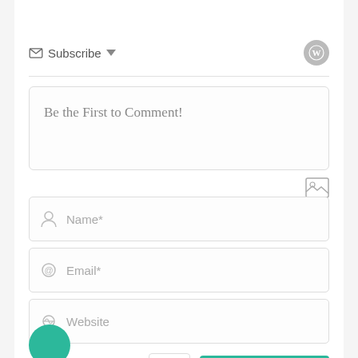Subscribe ▼
Be the First to Comment!
Name*
Email*
Website
Post Comment